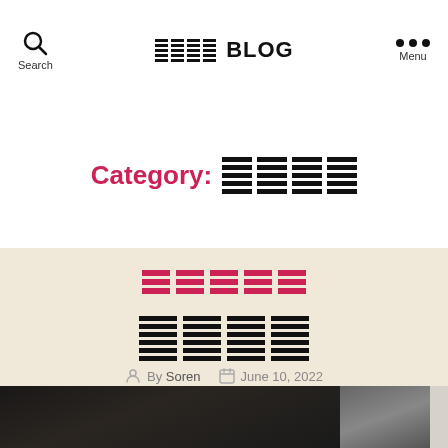Search | [LOGO] BLOG | Menu
Category: [REDACTED]
[REDACTED TITLE]
[REDACTED BODY TEXT]
By Soren · June 10, 2022
[Figure (photo): Dark photograph partially visible at bottom of page]